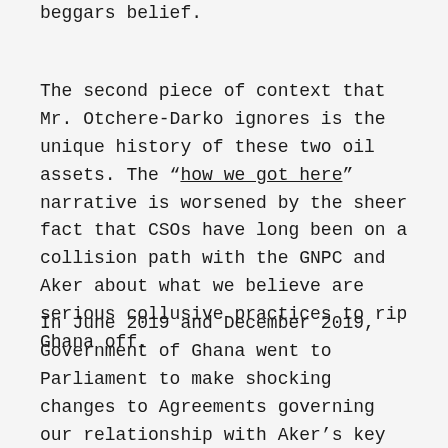beggars belief.
The second piece of context that Mr. Otchere-Darko ignores is the unique history of these two oil assets. The “how we got here” narrative is worsened by the sheer fact that CSOs have long been on a collision path with the GNPC and Aker about what we believe are serious collusive practices to rip Ghana off.
In June 2019 and December 2019, Government of Ghana went to Parliament to make shocking changes to Agreements governing our relationship with Aker’s key actors. The combined effect of these changes led to Ghana sacrificing shares